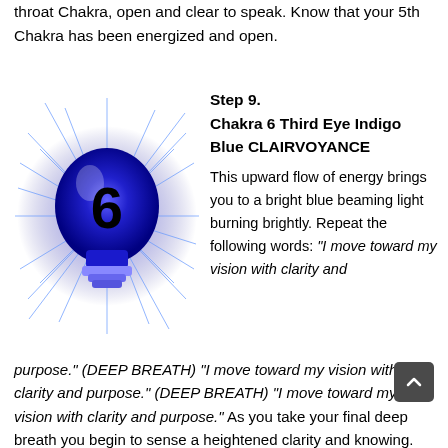throat Chakra, open and clear to speak. Know that your 5th Chakra has been energized and open.
[Figure (illustration): Blue glowing lightbulb with the number 6 on it, surrounded by blue rays of light, representing Chakra 6 Third Eye Indigo Blue]
Step 9.
Chakra 6 Third Eye Indigo Blue CLAIRVOYANCE
This upward flow of energy brings you to a bright blue beaming light burning brightly. Repeat the following words: "I move toward my vision with clarity and purpose." (DEEP BREATH) "I move toward my vision with clarity and purpose." (DEEP BREATH) "I move toward my vision with clarity and purpose." As you take your final deep breath you begin to sense a heightened clarity and knowing. You sense your connection to the Universal flow of energy as it propels you upward. Your 6th Chakra is